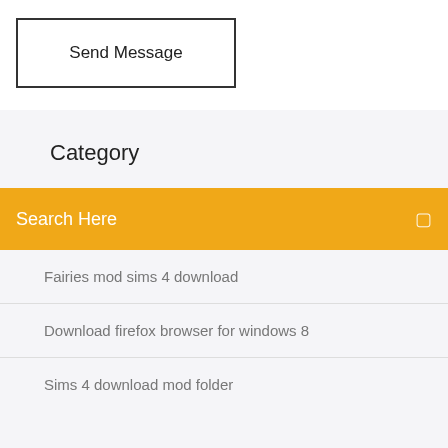Send Message
Category
Search Here
Fairies mod sims 4 download
Download firefox browser for windows 8
Sims 4 download mod folder